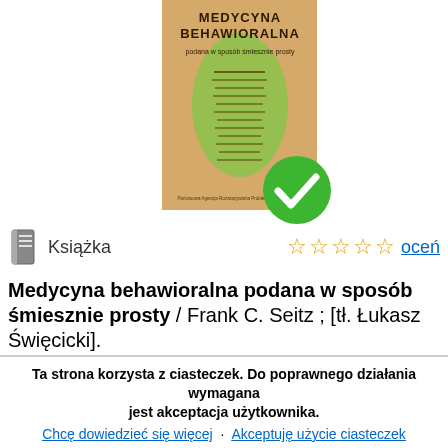[Figure (photo): Book cover of 'Medycyna behawioralna podana w sposób śmiesznie prosty' with a green checkmark overlay badge]
Książka
oceń
Medycyna behawioralna podana w sposób śmiesznie prosty / Frank C. Seitz ; [tł. Łukasz Święcicki].
Warszawa : Państ. Agencja Rozwiązywania Problemów Alkoholowych, 2000. - 180, [1] s. ; 24 cm.
ISBN : 83-88075-09-4 ; 0-940780-09-1 (oryg.)
Ta strona korzysta z ciasteczek. Do poprawnego działania wymagana jest akceptacja użytkownika.
Chcę dowiedzieć się więcej · Akceptuję użycie ciasteczek